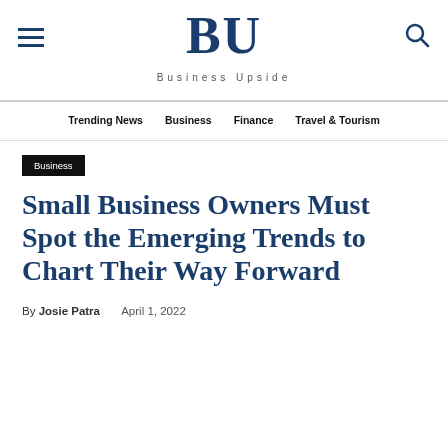BU — Business Upside
Trending News  Business  Finance  Travel & Tourism
Business
Small Business Owners Must Spot the Emerging Trends to Chart Their Way Forward
By Josie Patra   April 1, 2022